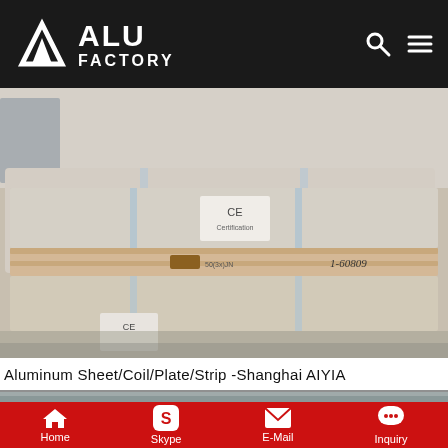ALU FACTORY
[Figure (photo): Packaged aluminum sheets/coils on wooden pallets wrapped in plastic strapping, with CE label visible, in a warehouse setting]
Aluminum Sheet/Coil/Plate/Strip -Shanghai AIYIA
Home   Skype   E-Mail   Inquiry